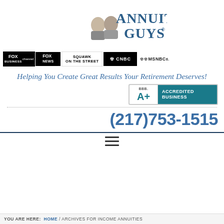[Figure (logo): Annuity Guys logo with two men and stylized text]
[Figure (infographic): Media logos: Fox Business, Fox News, Squawk on the Street, CNBC, MSNBC]
Helping You Create Great Results Your Retirement Deserves!
[Figure (logo): BBB Accredited Business A+ badge]
(217)753-1515
≡
YOU ARE HERE: HOME / ARCHIVES FOR INCOME ANNUITIES